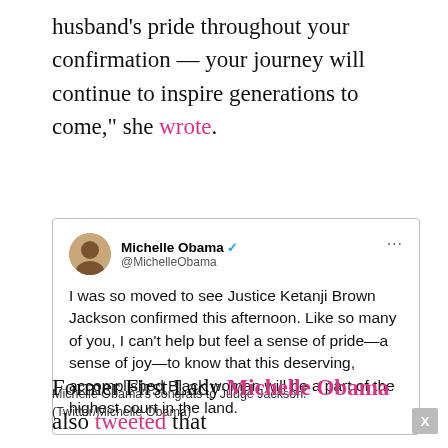husband’s pride throughout your confirmation — your journey will continue to inspire generations to come,” she wrote.
[Figure (screenshot): Tweet from Michelle Obama (@MichelleObama) with verified badge, reading: I was so moved to see Justice Ketanji Brown Jackson confirmed this afternoon. Like so many of you, I can’t help but feel a sense of pride—a sense of joy—to know that this deserving, accomplished Black woman will be a part of the highest court in the land.]
Michelle Obama’s congrats to Judge Jackson. (Twitter/Michelle Obama)
Former First Lady Michelle Obama also tweeted that